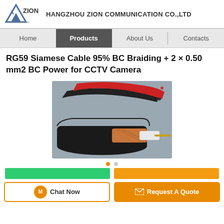HANGZHOU ZION COMMUNICATION CO.,LTD
[Figure (logo): ZION Communication triangular logo with text]
Home | Products | About Us | Contacts
RG59 Siamese Cable 95% BC Braiding + 2 × 0.50 mm2 BC Power for CCTV Camera
[Figure (photo): Photo of RG59 Siamese coaxial cable cross-section showing braiding, black jacket, red and black power wires on grey background]
Chat Now | Request A Quote